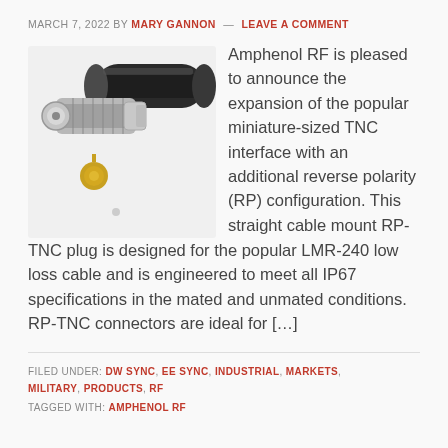MARCH 7, 2022 BY MARY GANNON — LEAVE A COMMENT
[Figure (photo): TNC connector components: a cylindrical black antenna body, a TNC plug connector, and a small gold contact pin]
Amphenol RF is pleased to announce the expansion of the popular miniature-sized TNC interface with an additional reverse polarity (RP) configuration. This straight cable mount RP-TNC plug is designed for the popular LMR-240 low loss cable and is engineered to meet all IP67 specifications in the mated and unmated conditions. RP-TNC connectors are ideal for […]
FILED UNDER: DW SYNC, EE SYNC, INDUSTRIAL, MARKETS, MILITARY, PRODUCTS, RF
TAGGED WITH: AMPHENOL RF